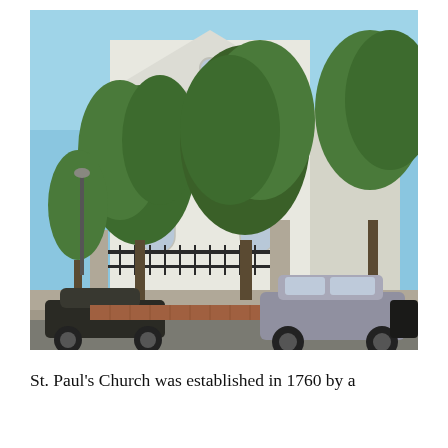[Figure (photo): Exterior photograph of St. Paul's Church, a white neoclassical building with a triangular pediment and arched windows, partially obscured by large green trees. Cars are parked on the street in front, including a dark sedan on the left and a silver SUV in the center. A wrought-iron fence runs along the front of the property. Blue sky visible in the background.]
St. Paul's Church was established in 1760 by a